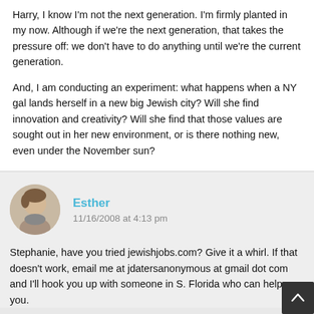Harry, I know I'm not the next generation. I'm firmly planted in my now. Although if we're the next generation, that takes the pressure off: we don't have to do anything until we're the current generation.

And, I am conducting an experiment: what happens when a NY gal lands herself in a new big Jewish city? Will she find innovation and creativity? Will she find that those values are sought out in her new environment, or is there nothing new, even under the November sun?
Esther
11/16/2008 at 4:13 pm
[Figure (photo): Circular avatar photo of a person at a laptop]
Stephanie, have you tried jewishjobs.com? Give it a whirl. If that doesn't work, email me at jdatersanonymous at gmail dot com and I'll hook you up with someone in S. Florida who can help you.